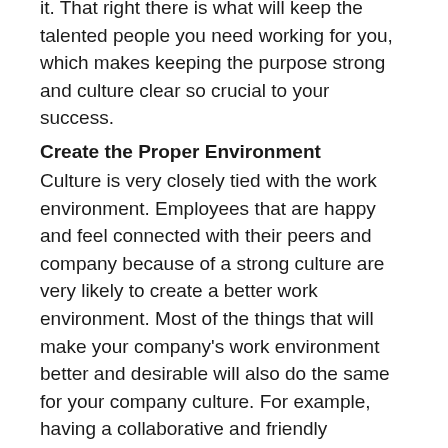it. That right there is what will keep the talented people you need working for you, which makes keeping the purpose strong and culture clear so crucial to your success.
Create the Proper Environment
Culture is very closely tied with the work environment. Employees that are happy and feel connected with their peers and company because of a strong culture are very likely to create a better work environment. Most of the things that will make your company's work environment better and desirable will also do the same for your company culture. For example, having a collaborative and friendly environment that encourages questions and suggestions from any employee, you will also encourage a culture that supports and values those things. Those things will be what attracts the talent you want as a start-up, and also help retain that